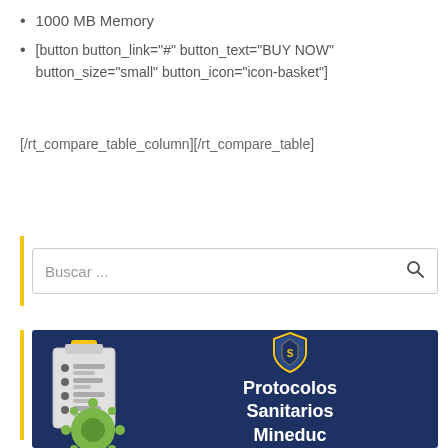1000 MB Memory
[button button_link="#" button_text="BUY NOW" button_size="small" button_icon="icon-basket"]
[/rt_compare_table_column][/rt_compare_table]
[Figure (screenshot): Search box with yellow left accent bar and placeholder text 'Buscar ...' with a magnifying glass icon]
[Figure (illustration): Dark navy blue banner image showing a clipboard with checklist, a virus/molecule illustration, a shield crest logo, and bold white text reading 'Protocolos Sanitarios Mineduc']